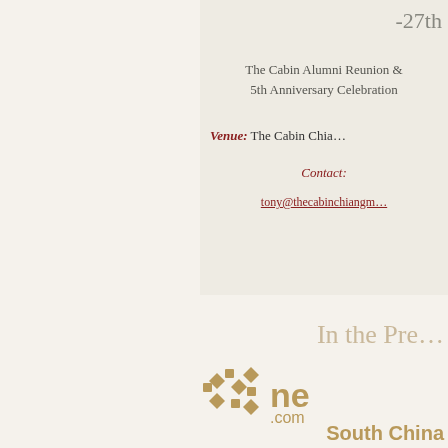-27th
The Cabin Alumni Reunion & 5th Anniversary Celebration
Venue: The Cabin Chiang Mai
Contact:
tony@thecabinchiangmai.com
In the Press
[Figure (logo): news.com logo with decorative diamond/square pattern in tan/gold color]
South China